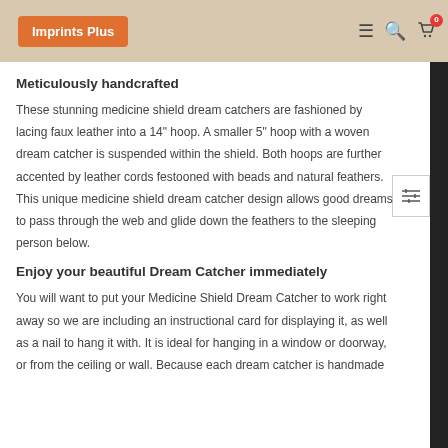Imprints Plus
Meticulously handcrafted
These stunning medicine shield dream catchers are fashioned by lacing faux leather into a 14" hoop. A smaller 5" hoop with a woven dream catcher is suspended within the shield. Both hoops are further accented by leather cords festooned with beads and natural feathers. This unique medicine shield dream catcher design allows good dreams to pass through the web and glide down the feathers to the sleeping person below.
Enjoy your beautiful Dream Catcher immediately
You will want to put your Medicine Shield Dream Catcher to work right away so we are including an instructional card for displaying it, as well as a nail to hang it with. It is ideal for hanging in a window or doorway, or from the ceiling or wall. Because each dream catcher is handmade